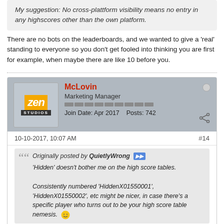My suggestion: No cross-plattform visibility means no entry in any highscores other than the own platform.
There are no bots on the leaderboards, and we wanted to give a 'real' standing to everyone so you don't get fooled into thinking you are first for example, when maybe there are like 10 before you.
McLovin
Marketing Manager
Join Date: Apr 2017   Posts: 742
10-10-2017, 10:07 AM
#14
Originally posted by QuietlyWrong
'Hidden' doesn't bother me on the high score tables.
Consistently numbered 'HiddenX01550001', 'HiddenX01550002', etc might be nicer, in case there's a specific player who turns out to be your high score table nemesis.
That is not a bad idea actually, but wouldn't it seem like a bug to some players? It could seem very creint-sy maybe.